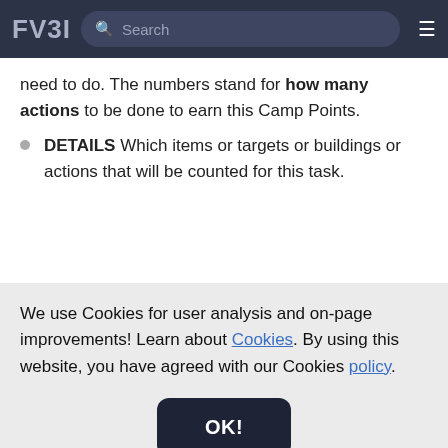FV3I [Search bar] [Menu]
need to do. The numbers stand for how many actions to be done to earn this Camp Points.
DETAILS Which items or targets or buildings or actions that will be counted for this task.
We use Cookies for user analysis and on-page improvements! Learn about Cookies. By using this website, you have agreed with our Cookies policy.
OK!